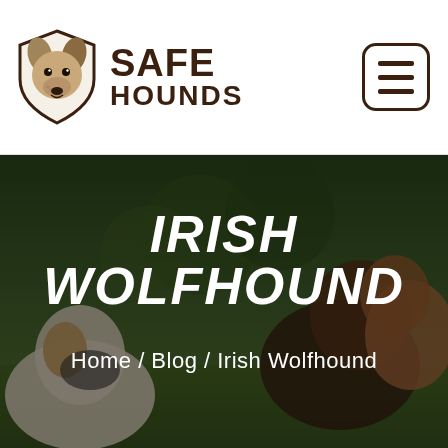[Figure (logo): Safe Hounds logo: a dog face inside a shield shape, brown/tan colors, next to bold text reading SAFE HOUNDS]
[Figure (photo): Hero banner image showing multiple dogs on green grass with dark overlay, displaying IRISH WOLFHOUND title and breadcrumb navigation Home / Blog / Irish Wolfhound]
IRISH WOLFHOUND
Home / Blog / Irish Wolfhound